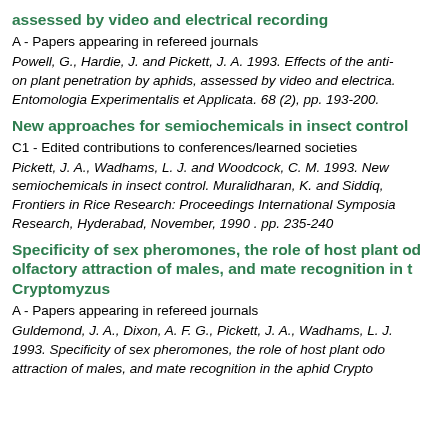assessed by video and electrical recording
A - Papers appearing in refereed journals
Powell, G., Hardie, J. and Pickett, J. A. 1993. Effects of the anti- on plant penetration by aphids, assessed by video and electrica. Entomologia Experimentalis et Applicata. 68 (2), pp. 193-200.
New approaches for semiochemicals in insect control
C1 - Edited contributions to conferences/learned societies
Pickett, J. A., Wadhams, L. J. and Woodcock, C. M. 1993. New semiochemicals in insect control. Muralidharan, K. and Siddiq, Frontiers in Rice Research: Proceedings International Symposia Research, Hyderabad, November, 1990 . pp. 235-240
Specificity of sex pheromones, the role of host plant od olfactory attraction of males, and mate recognition in t Cryptomyzus
A - Papers appearing in refereed journals
Guldemond, J. A., Dixon, A. F. G., Pickett, J. A., Wadhams, L. J. 1993. Specificity of sex pheromones, the role of host plant odo attraction of males, and mate recognition in the aphid Crypto